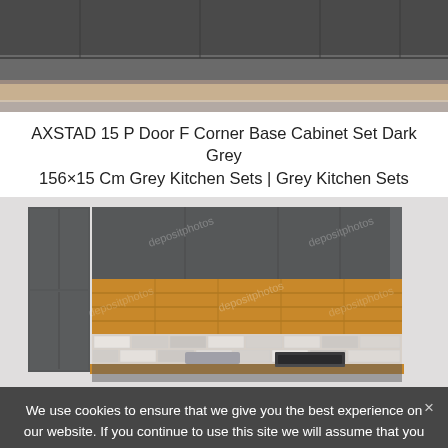[Figure (photo): Top portion of a dark grey kitchen cabinet set photo, showing grey cabinet doors and wood countertop]
AXSTAD 15 P Door F Corner Base Cabinet Set Dark Grey 156×15 Cm Grey Kitchen Sets | Grey Kitchen Sets
[Figure (photo): 3D render/illustration of a grey kitchen cabinet set with wood backsplash panels, subway tile backsplash, sink, and oven. Depositphotos watermark visible. Shows corner base cabinet configuration.]
We use cookies to ensure that we give you the best experience on our website. If you continue to use this site we will assume that you are happy with it.
depositphotos   Ok   [image ID and price text]